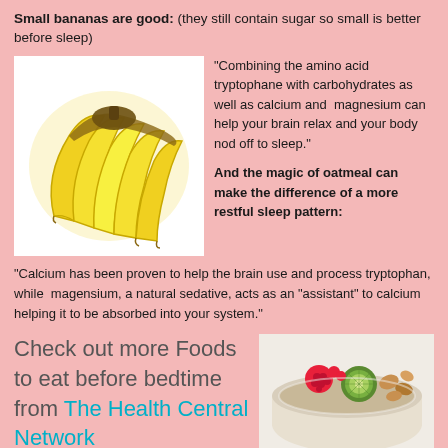Small bananas are good: (they still contain sugar so small is better before sleep)
[Figure (photo): Photo of a bunch of yellow bananas on a white background]
"Combining the amino acid tryptophane with carbohydrates as well as calcium and magnesium can help your brain relax and your body nod off to sleep."
And the magic of oatmeal can make the difference of a more restful sleep pattern:
"Calcium has been proven to help the brain use and process tryptophan, while magensium, a natural sedative, acts as an "assistant" to calcium helping it to be absorbed into your system."
Check out more Foods to eat before bedtime from The Health Central Network
[Figure (photo): Photo of a bowl of oatmeal with raspberries, kiwi, and nuts]